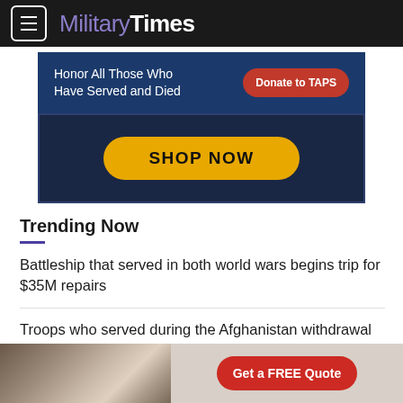MilitaryTimes
[Figure (infographic): Blue banner ad: Honor All Those Who Have Served and Died — Donate to TAPS button]
[Figure (infographic): Dark navy banner ad with SHOP NOW yellow button]
Trending Now
Battleship that served in both world wars begins trip for $35M repairs
Troops who served during the Afghanistan withdrawal to receive awards
[Figure (infographic): Bottom ad showing kitchen photo and Get a FREE Quote red button]